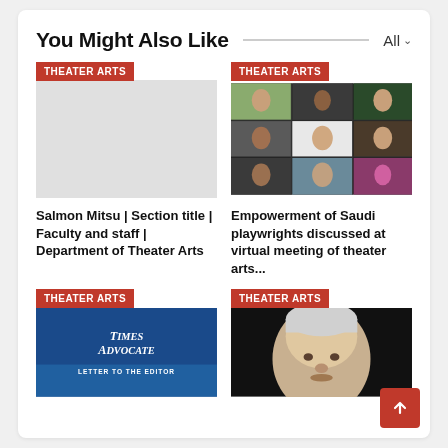You Might Also Like
All
THEATER ARTS
Salmon Mitsu | Section title | Faculty and staff | Department of Theater Arts
[Figure (photo): Grid of video call participants on screen, multiple faces in video grid layout]
THEATER ARTS
Empowerment of Saudi playwrights discussed at virtual meeting of theater arts...
[Figure (photo): Times Advocate Letter to the Editor on blue background]
THEATER ARTS
[Figure (photo): Close-up portrait of an older man with white/grey hair against dark background]
THEATER ARTS